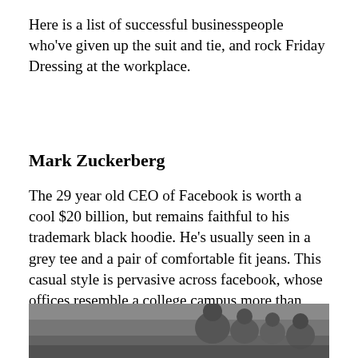Here is a list of successful businesspeople who've given up the suit and tie, and rock Friday Dressing at the workplace.
Mark Zuckerberg
The 29 year old CEO of Facebook is worth a cool $20 billion, but remains faithful to his trademark black hoodie. He's usually seen in a grey tee and a pair of comfortable fit jeans. This casual style is pervasive across facebook, whose offices resemble a college campus more than gigantic multinational corporation.
[Figure (photo): A partially visible photograph showing people, cropped at the bottom of the page. Dark/grey toned image with figures visible.]